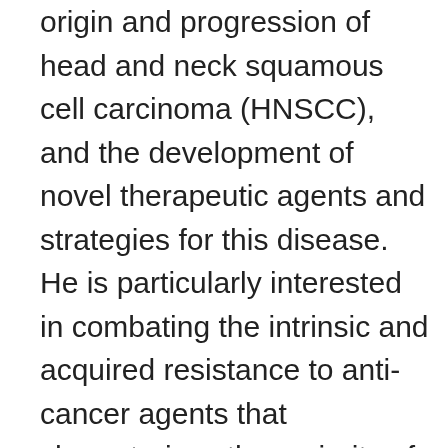origin and progression of head and neck squamous cell carcinoma (HNSCC), and the development of novel therapeutic agents and strategies for this disease. He is particularly interested in combating the intrinsic and acquired resistance to anti-cancer agents that characterizes the majority of HNSCC patient tumors. Work from his lab has shown that overexpression of anti-apoptotic Bcl-2 family members and/or hyperactivation of STAT3 transcription factor contribute to HNSCC drug resistance. He has employed small molecule inhibitors of Bcl-2/Bcl-XL/Mcl-1, as well as proteasome inhibitors, to develop synergistic co-targeting strategies to overcome resistance arising for overexpression of Bcl-2 family members. To